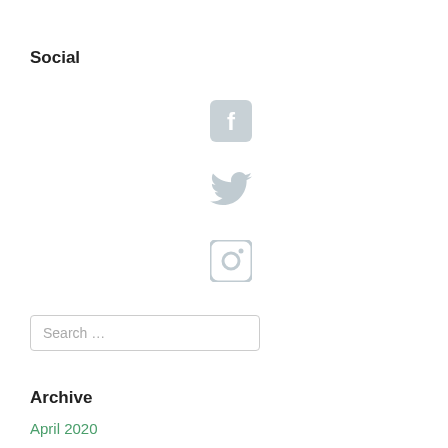Social
[Figure (illustration): Three social media icons stacked vertically: Facebook icon (rounded square with 'f'), Twitter icon (bird), and Instagram icon (camera). All rendered in a light steel-blue/gray color.]
Search ...
Archive
April 2020